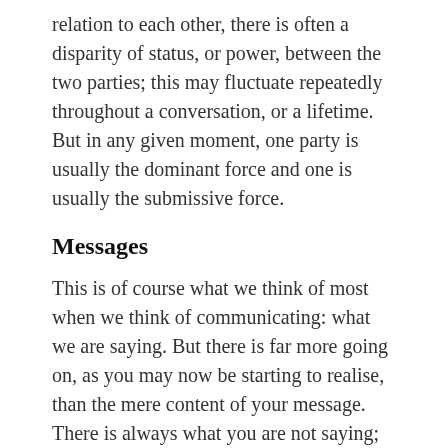relation to each other, there is often a disparity of status, or power, between the two parties; this may fluctuate repeatedly throughout a conversation, or a lifetime. But in any given moment, one party is usually the dominant force and one is usually the submissive force.
Messages
This is of course what we think of most when we think of communicating: what we are saying. But there is far more going on, as you may now be starting to realise, than the mere content of your message. There is always what you are not saying; the larger message you are conveying beneath and beyond the words. This is called a ‘meta-message’ and could be something like, “I am better than you,” or “I